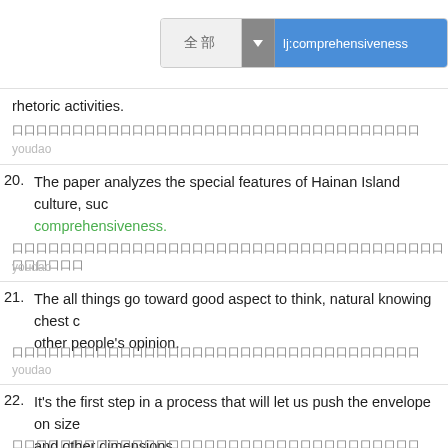[Figure (screenshot): Search bar UI with dropdown button and blue highlighted search field showing 'lj:comprehensiveness']
rhetoric activities.
[Chinese characters]
youdao
20. The paper analyzes the special features of Hainan Island culture, such as comprehensiveness.
[Chinese characters]
youdao
21. The all things go toward good aspect to think, natural knowing chest other people's opinion.
[Chinese characters]
youdao
22. It's the first step in a process that will let us push the envelope on size and other dimensions.
[Chinese characters]